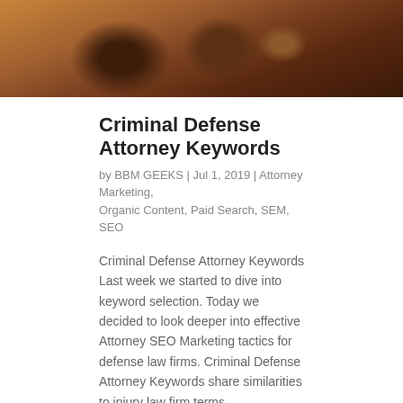[Figure (photo): A close-up photo of a judge's gavel and other court-related objects on a wooden surface, with warm brown tones.]
Criminal Defense Attorney Keywords
by BBM GEEKS | Jul 1, 2019 | Attorney Marketing, Organic Content, Paid Search, SEM, SEO
Criminal Defense Attorney Keywords Last week we started to dive into keyword selection. Today we decided to look deeper into effective Attorney SEO Marketing tactics for defense law firms. Criminal Defense Attorney Keywords share similarities to injury law firm terms...
Search
Recent Posts